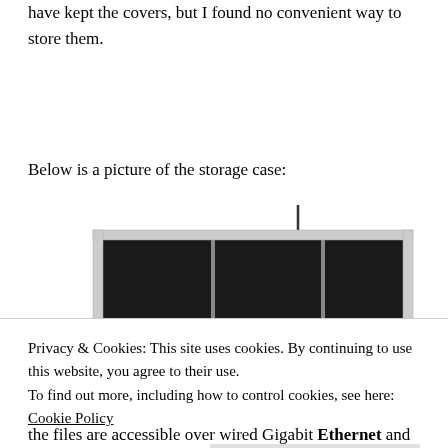have kept the covers, but I found no convenient way to store them.
Below is a picture of the storage case:
[Figure (photo): An open black aluminum storage case with silver trim and clasps, shown from an angle. The case has multiple internal dividers creating compartments, open lid, and visible carry latches and handle. A vertical dark line appears to the right of the case image.]
Privacy & Cookies: This site uses cookies. By continuing to use this website, you agree to their use.
To find out more, including how to control cookies, see here: Cookie Policy
the files are accessible over wired Gigabit Ethernet and